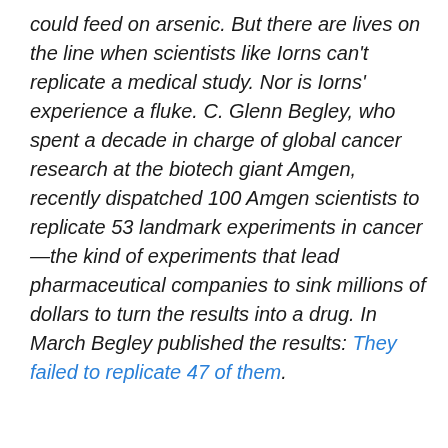could feed on arsenic. But there are lives on the line when scientists like Iorns can't replicate a medical study. Nor is Iorns' experience a fluke. C. Glenn Begley, who spent a decade in charge of global cancer research at the biotech giant Amgen, recently dispatched 100 Amgen scientists to replicate 53 landmark experiments in cancer—the kind of experiments that lead pharmaceutical companies to sink millions of dollars to turn the results into a drug. In March Begley published the results: They failed to replicate 47 of them.